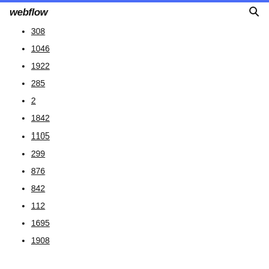webflow
308
1046
1922
285
2
1842
1105
299
876
842
112
1695
1908